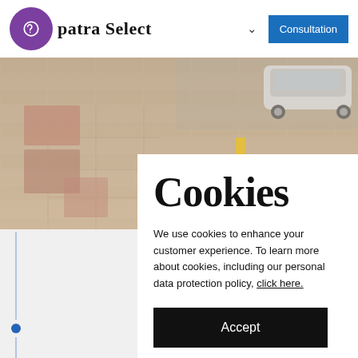patra Select | Consultation
[Figure (screenshot): Aerial view of brick/paving tiles with a white car parked in the top-right corner]
Cookies
We use cookies to enhance your customer experience. To learn more about cookies, including our personal data protection policy, click here.
Accept